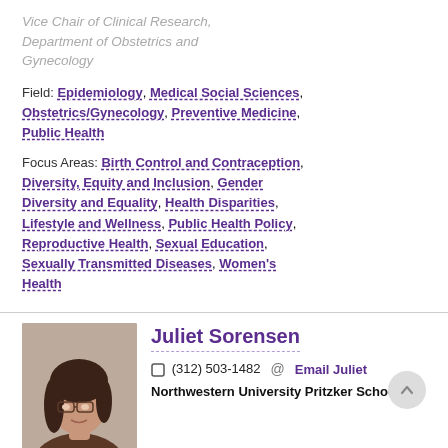Vice Chair of Clinical Research, Department of Obstetrics and Gynecology
Field: Epidemiology, Medical Social Sciences, Obstetrics/Gynecology, Preventive Medicine, Public Health
Focus Areas: Birth Control and Contraception, Diversity, Equity and Inclusion, Gender Diversity and Equality, Health Disparities, Lifestyle and Wellness, Public Health Policy, Reproductive Health, Sexual Education, Sexually Transmitted Diseases, Women's Health
[Figure (photo): Photo of Juliet Sorensen, a woman with dark hair and glasses]
Juliet Sorensen
(312) 503-1482  Email Juliet
Northwestern University Pritzker School of Law